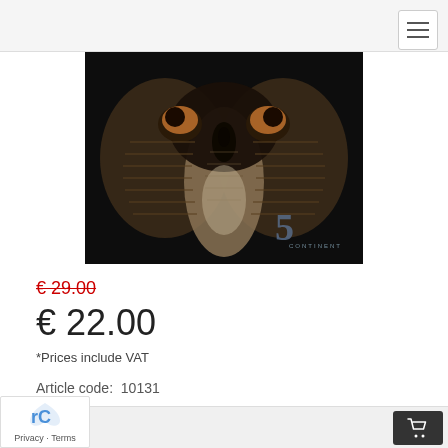[Figure (photo): Close-up macro photograph of an insect (possibly a cockroach or beetle) showing its face/head area with compound eyes and segmented body parts, dark background, with a '5 Continents' watermark logo in the lower right corner.]
€ 29.00
€ 22.00
*Prices include VAT
Article code:  10131
Privacy · Terms